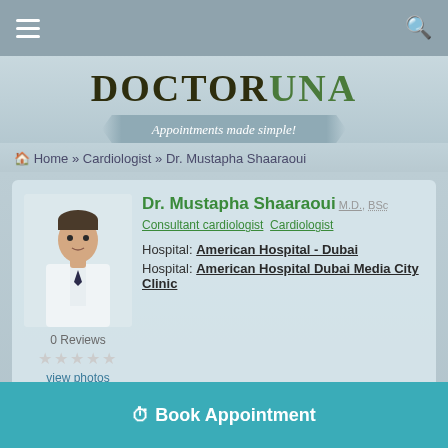DOCTORUNA — Appointments made simple!
Home » Cardiologist » Dr. Mustapha Shaaraoui
[Figure (photo): Photo of Dr. Mustapha Shaaraoui in white coat]
Dr. Mustapha Shaaraoui M.D., BSc
Consultant cardiologist  Cardiologist
Hospital: American Hospital - Dubai
Hospital: American Hospital Dubai Media City Clinic
0 Reviews
★★★★★
view photos
Book Appointment